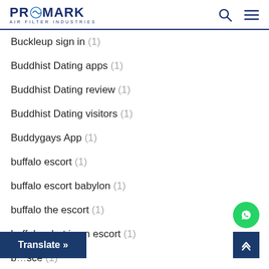PROMARK AIR FILTER INDUSTRIES
Buckleup sign in (1)
Buddhist Dating apps (1)
Buddhist Dating review (1)
Buddhist Dating visitors (1)
Buddygays App (1)
buffalo escort (1)
buffalo escort babylon (1)
buffalo the escort (1)
buffalo what is an escort (1)
b...sce (1)
Translate »